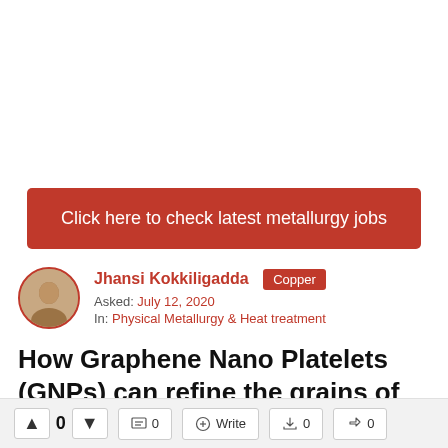[Figure (infographic): Red button banner: Click here to check latest metallurgy jobs]
Jhansi Kokkiligadda  Copper
Asked: July 12, 2020
In: Physical Metallurgy & Heat treatment
How Graphene Nano Platelets (GNPs) can refine the grains of composites?
[Figure (infographic): Bottom action bar with upvote, downvote and share buttons]